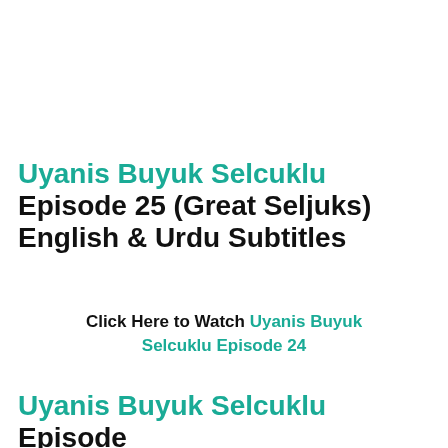Uyanis Buyuk Selcuklu Episode 25 (Great Seljuks) English & Urdu Subtitles
Click Here to Watch Uyanis Buyuk Selcuklu Episode 24
Uyanis Buyuk Selcuklu Episode 25 Summary